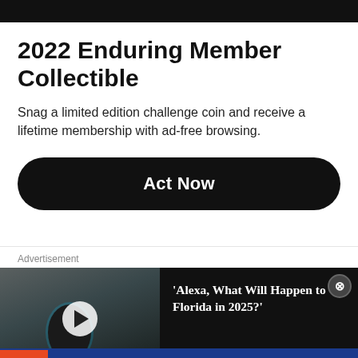2022 Enduring Member Collectible
Snag a limited edition challenge coin and receive a lifetime membership with ad-free browsing.
Act Now
Advertisement
[Figure (screenshot): Video advertisement thumbnail showing an Amazon Echo device on a countertop with a play button overlay]
'Alexa, What Will Happen to Florida in 2025?'
[Figure (logo): SHSU Online logo banner with text: Let us help you reach the nex]